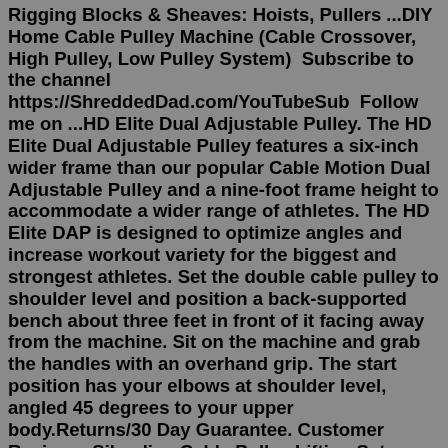Rigging Blocks & Sheaves: Hoists, Pullers ...DIY Home Cable Pulley Machine (Cable Crossover, High Pulley, Low Pulley System)  Subscribe to the channel https://ShreddedDad.com/YouTubeSub  Follow me on ...HD Elite Dual Adjustable Pulley. The HD Elite Dual Adjustable Pulley features a six-inch wider frame than our popular Cable Motion Dual Adjustable Pulley and a nine-foot frame height to accommodate a wider range of athletes. The HD Elite DAP is designed to optimize angles and increase workout variety for the biggest and strongest athletes. Set the double cable pulley to shoulder level and position a back-supported bench about three feet in front of it facing away from the machine. Sit on the machine and grab the handles with an overhand grip. The start position has your elbows at shoulder level, angled 45 degrees to your upper body.Returns/30 Day Guarantee. Customer Reviews. Silverline Cable Pulley Lifting Set 180kg. Features: - 180kg max lifting capacity. - 19.8m polypropylene lifting cord on zinc-plated steel runners. - 6:1 mechanical advantage. About Silverline